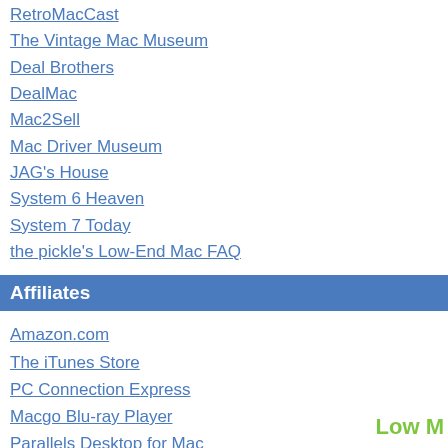RetroMacCast
The Vintage Mac Museum
Deal Brothers
DealMac
Mac2Sell
Mac Driver Museum
JAG's House
System 6 Heaven
System 7 Today
the pickle's Low-End Mac FAQ
Affiliates
Amazon.com
The iTunes Store
PC Connection Express
Macgo Blu-ray Player
Parallels Desktop for Mac
eBay